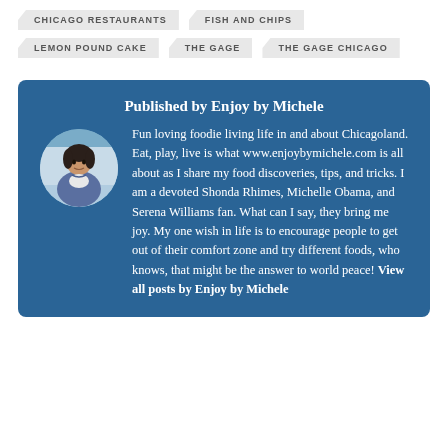CHICAGO RESTAURANTS
FISH AND CHIPS
LEMON POUND CAKE
THE GAGE
THE GAGE CHICAGO
Published by Enjoy by Michele
Fun loving foodie living life in and about Chicagoland. Eat, play, live is what www.enjoybymichele.com is all about as I share my food discoveries, tips, and tricks. I am a devoted Shonda Rhimes, Michelle Obama, and Serena Williams fan. What can I say, they bring me joy. My one wish in life is to encourage people to get out of their comfort zone and try different foods, who knows, that might be the answer to world peace! View all posts by Enjoy by Michele
[Figure (photo): Circular profile photo of Enjoy by Michele author]